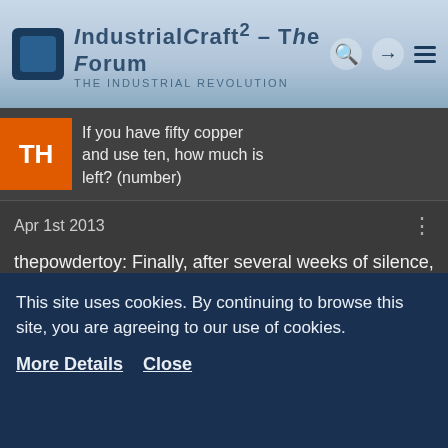IndustrialCraft² - The Forum · The Industrial Revolution
If you have fifty copper and use ten, how much is left? (number)
Apr 1st 2013
thepowdertoy: Finally, after several weeks of silence, I have do a ship rebuild with 50% more power and looks like the battlecruiser from sc2! Alright AI, what is our next target?

AI: We will attack the spambot forward base
*a huge thing comes out from screen*

Creeper: That.. That is huge!
This site uses cookies. By continuing to browse this site, you are agreeing to our use of cookies.
More Details
Close